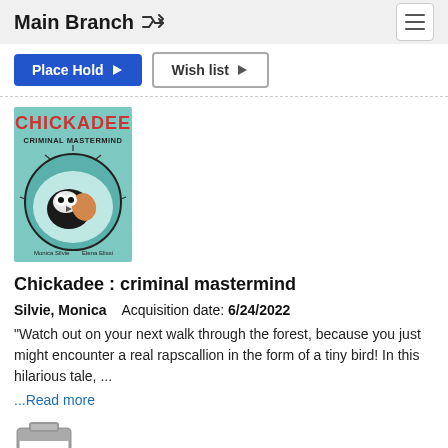Main Branch
[Figure (screenshot): Partially visible Place Hold and Wish List buttons at top of page]
[Figure (illustration): Book cover of Chickadee: Criminal Mastermind showing a chickadee bird illustrated in a circular magnifying glass frame with red text 'CHICKADEE' and 'CRIMINAL MASTERMIND' on a teal background. Authors: Monica Silvie, Elena Elissi.]
Chickadee : criminal mastermind
Silvie, Monica    Acquisition date: 6/24/2022
"Watch out on your next walk through the forest, because you just might encounter a real rapscallion in the form of a tiny bird! In this hilarious tale, ...
...Read more
[Figure (illustration): Partial view of a gray book icon at the bottom of the page]